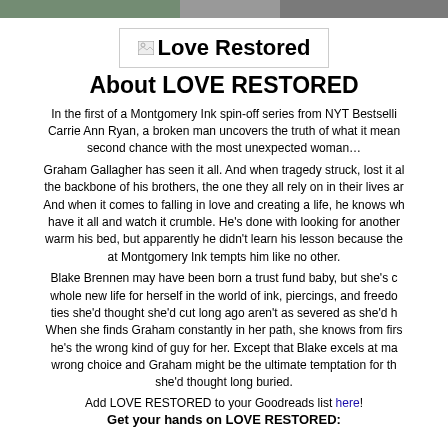[Figure (photo): Partial image visible at top of page, appears to be a nature or outdoor photo strip]
[Figure (screenshot): Broken image placeholder with text 'Love Restored' inside a bordered box]
About LOVE RESTORED
In the first of a Montgomery Ink spin-off series from NYT Bestselling author Carrie Ann Ryan, a broken man uncovers the truth of what it means to have a second chance with the most unexpected woman…
Graham Gallagher has seen it all. And when tragedy struck, lost it all. He's the backbone of his brothers, the one they all rely on in their lives and loves. And when it comes to falling in love and creating a life, he knows what it's like to have it all and watch it crumble. He's done with looking for another woman to warm his bed, but apparently he didn't learn his lesson because the new ink artist at Montgomery Ink tempts him like no other.
Blake Brennen may have been born a trust fund baby, but she's created a whole new life for herself in the world of ink, piercings, and freedom. Only the ties she'd thought she'd cut long ago aren't as severed as she'd hoped. When she finds Graham constantly in her path, she knows from first glance that he's the wrong kind of guy for her. Except that Blake excels at making the wrong choice and Graham might be the ultimate temptation for the heart she'd thought long buried.
Add LOVE RESTORED to your Goodreads list here!
Get your hands on LOVE RESTORED: